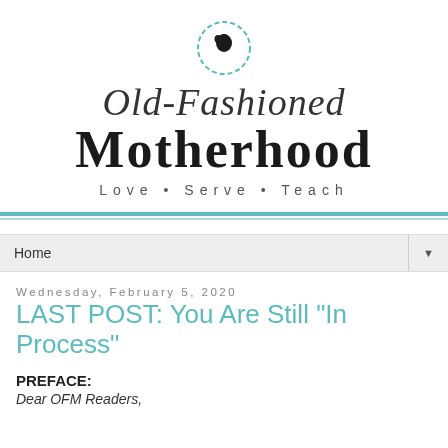[Figure (logo): Old-Fashioned Motherhood blog logo with teal scalloped circle icon containing a woman's silhouette, cursive 'Old-Fashioned' text, bold serif 'Motherhood' text, and tagline 'Love • Serve • Teach']
Home ▼
Wednesday, February 5, 2020
LAST POST: You Are Still "In Process"
PREFACE:
Dear OFM Readers,